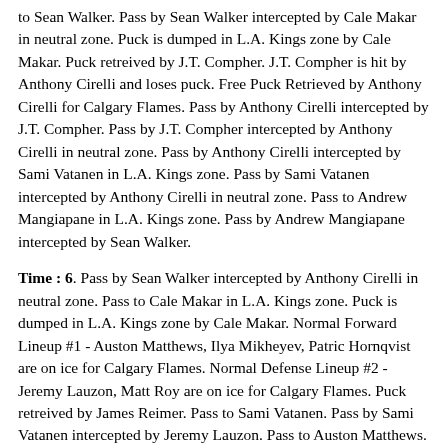to Sean Walker. Pass by Sean Walker intercepted by Cale Makar in neutral zone. Puck is dumped in L.A. Kings zone by Cale Makar. Puck retreived by J.T. Compher. J.T. Compher is hit by Anthony Cirelli and loses puck. Free Puck Retrieved by Anthony Cirelli for Calgary Flames. Pass by Anthony Cirelli intercepted by J.T. Compher. Pass by J.T. Compher intercepted by Anthony Cirelli in neutral zone. Pass by Anthony Cirelli intercepted by Sami Vatanen in L.A. Kings zone. Pass by Sami Vatanen intercepted by Anthony Cirelli in neutral zone. Pass to Andrew Mangiapane in L.A. Kings zone. Pass by Andrew Mangiapane intercepted by Sean Walker.
Time : 6. Pass by Sean Walker intercepted by Anthony Cirelli in neutral zone. Pass to Cale Makar in L.A. Kings zone. Puck is dumped in L.A. Kings zone by Cale Makar. Normal Forward Lineup #1 - Auston Matthews, Ilya Mikheyev, Patric Hornqvist are on ice for Calgary Flames. Normal Defense Lineup #2 - Jeremy Lauzon, Matt Roy are on ice for Calgary Flames. Puck retreived by James Reimer. Pass to Sami Vatanen. Pass by Sami Vatanen intercepted by Jeremy Lauzon. Pass to Auston Matthews. Pass to Ilya Mikheyev. Pass to Auston Matthews. Pass to Jeremy Lauzon. Pass by Jeremy Lauzon intercepted by Sean Walker. Icing by Sean Walker. Normal Forward Lineup #3 - Frederick Gaudreau, Joel Armia, Jesper Fast are on ice for Calgary Flames. Normal Defense Lineup #3 - Kris Russell, Ryan Murray are on ice for Calgary Flames. Frederick Gaudreau wins face-off versus Sean Monahan in